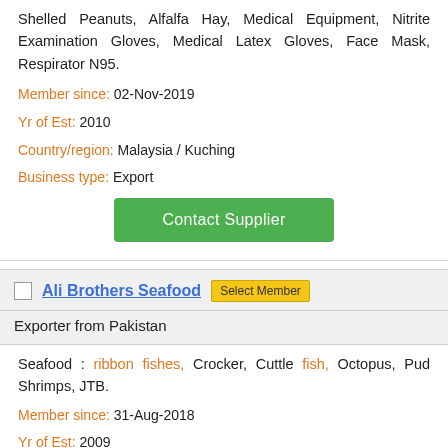Shelled Peanuts, Alfalfa Hay, Medical Equipment, Nitrite Examination Gloves, Medical Latex Gloves, Face Mask, Respirator N95.
Member since: 02-Nov-2019
Yr of Est: 2010
Country/region: Malaysia / Kuching
Business type: Export
Contact Supplier
Ali Brothers Seafood
Exporter from Pakistan
Seafood : ribbon fishes, Crocker, Cuttle fish, Octopus, Pud Shrimps, JTB.
Member since: 31-Aug-2018
Yr of Est: 2009
Country/region: Pakistan / Karachi